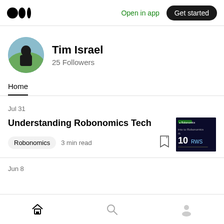Medium logo | Open in app | Get started
[Figure (photo): User profile avatar photo of Tim Israel - person in black jacket outdoors]
Tim Israel
25 Followers
Home
Jul 31
Understanding Robonomics Tech
Robonomics   3 min read
[Figure (screenshot): Article thumbnail image with dark blue/black background and text about Robonomics]
Jun 8
Home | Search | Profile icons